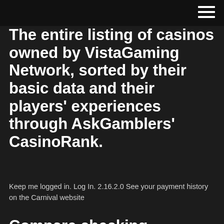menu icon (hamburger)
The entire listing of casinos owned by VistaGaming Network, sorted by their basic data and their players' experiences through AskGamblers' CasinoRank.
Keep me logged in. Log In. 2.16.2.0 See your payment history on the Carnival website
Compare checking accounts with WalletHub's free tool and read ratings and reviews from other consumers. Find the best account for you and apply online. Your web browser (Internet Explorer) is